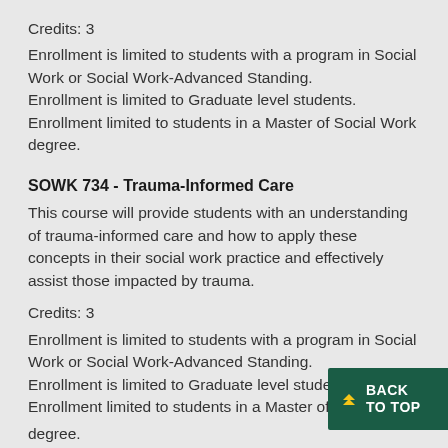Credits: 3
Enrollment is limited to students with a program in Social Work or Social Work-Advanced Standing.
Enrollment is limited to Graduate level students.
Enrollment limited to students in a Master of Social Work degree.
SOWK 734 -  Trauma-Informed Care
This course will provide students with an understanding of trauma-informed care and how to apply these concepts in their social work practice and effectively assist those impacted by trauma.
Credits: 3
Enrollment is limited to students with a program in Social Work or Social Work-Advanced Standing.
Enrollment is limited to Graduate level students.
Enrollment limited to students in a Master of Social Work degree.